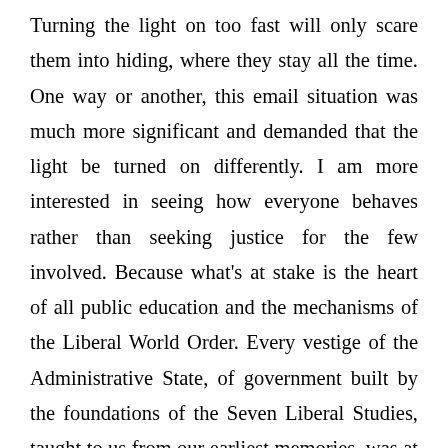Turning the light on too fast will only scare them into hiding, where they stay all the time. One way or another, this email situation was much more significant and demanded that the light be turned on differently. I am more interested in seeing how everyone behaves rather than seeking justice for the few involved. Because what's at stake is the heart of all public education and the mechanisms of the Liberal World Order. Every vestige of the Administrative State, of government built by the foundations of the Seven Liberal Studies, taught to us from our earliest memories, was at work. The media was at that school board meeting because they were looking for acknowledgment on the contents of that email and what management planned to do about it. Instead, the behavior revealed